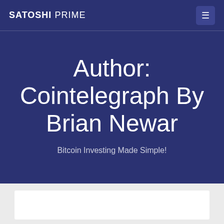SATOSHI PRIME
Author: Cointelegraph By Brian Newar
Bitcoin Investing Made Simple!